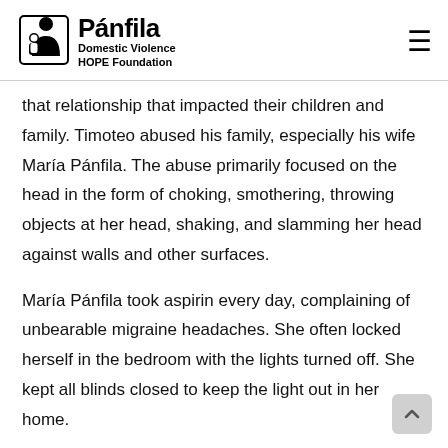Pánfila Domestic Violence HOPE Foundation
that relationship that impacted their children and family. Timoteo abused his family, especially his wife María Pánfila. The abuse primarily focused on the head in the form of choking, smothering, throwing objects at her head, shaking, and slamming her head against walls and other surfaces.
María Pánfila took aspirin every day, complaining of unbearable migraine headaches. She often locked herself in the bedroom with the lights turned off. She kept all blinds closed to keep the light out in her home.